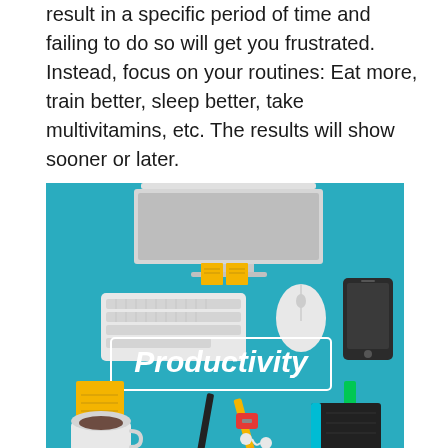result in a specific period of time and failing to do so will get you frustrated. Instead, focus on your routines: Eat more, train better, sleep better, take multivitamins, etc. The results will show sooner or later.
[Figure (illustration): Flat-style illustration of a desk workspace with the word 'Productivity' displayed on a teal/blue background. Office items visible include a computer monitor, keyboard, mouse, smartphone, sticky notes, a USB drive, a pencil, a marker, a coffee cup, earphones, a sharpener, and a notebook.]